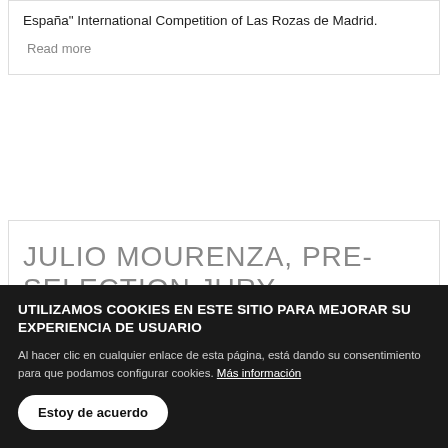España" International Competition of Las Rozas de Madrid.
Read more
JULIO MOURENZA, PRE-SELECTION JURY
A
[Figure (photo): Portrait photo of Julio Mourenza, partially visible]
UTILIZAMOS COOKIES EN ESTE SITIO PARA MEJORAR SU EXPERIENCIA DE USUARIO
Al hacer clic en cualquier enlace de esta página, está dando su consentimiento para que podamos configurar cookies. Más información
Estoy de acuerdo